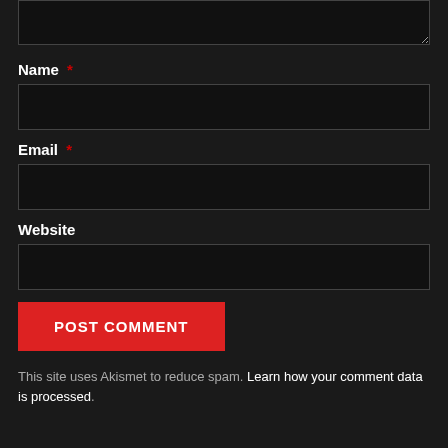[Figure (screenshot): Top portion of a comment text area input field (dark background, dark input box), partially visible at top of page]
Name *
[Figure (screenshot): Name text input field, dark styled]
Email *
[Figure (screenshot): Email text input field, dark styled]
Website
[Figure (screenshot): Website text input field, dark styled]
POST COMMENT
This site uses Akismet to reduce spam. Learn how your comment data is processed.